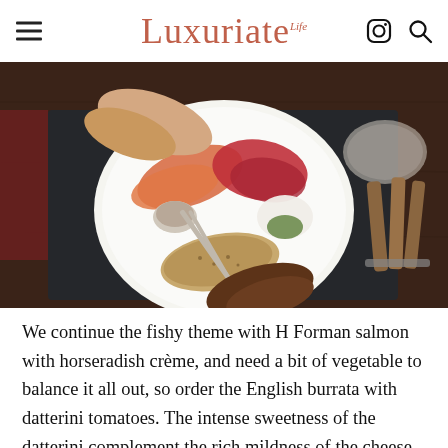Luxuriate Life
[Figure (photo): Overhead shot of a white plate with smoked salmon (orange and red/beet-cured), white cream, green garnish, and sliced seeded bread on a dark wooden table with a wine glass. Hands holding cutlery are visible.]
We continue the fishy theme with H Forman salmon with horseradish crème, and need a bit of vegetable to balance it all out, so order the English burrata with datterini tomatoes. The intense sweetness of the datterini complement the rich mildness of the cheese